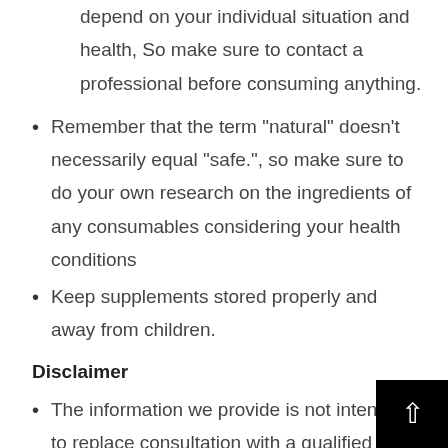Any supplement's effectiveness and safety may depend on your individual situation and health, So make sure to contact a professional before consuming anything.
Remember that the term “natural” doesn’t necessarily equal “safe.”, so make sure to do your own research on the ingredients of any consumables considering your health conditions
Keep supplements stored properly and away from children.
Disclaimer
The information we provide is not intended to replace consultation with a qualified medical professional. We encourage you to inform your physician of changes you make to your lifestyle and discuss these with him or her. For questions or concerns about any medical